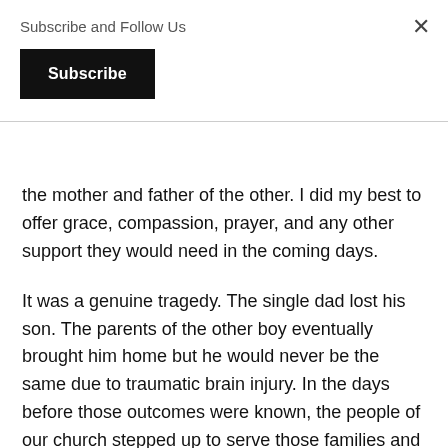Subscribe and Follow Us
Subscribe
the mother and father of the other. I did my best to offer grace, compassion, prayer, and any other support they would need in the coming days.
It was a genuine tragedy. The single dad lost his son. The parents of the other boy eventually brought him home but he would never be the same due to traumatic brain injury. In the days before those outcomes were known, the people of our church stepped up to serve those families and the community in amazing ways. The result of their actions opened doors to ministry in that community that had previously not been opened. I was a